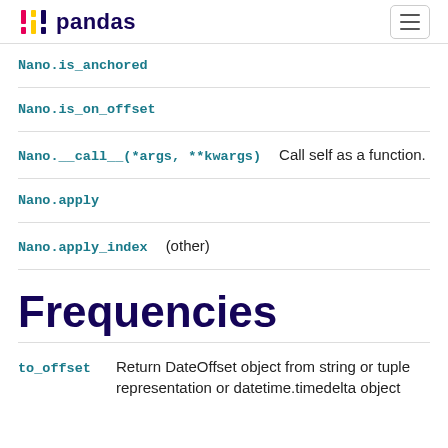pandas
Nano.is_anchored
Nano.is_on_offset
Nano.__call__(*args, **kwargs)   Call self as a function.
Nano.apply
Nano.apply_index(other)
Frequencies
to_offset   Return DateOffset object from string or tuple representation or datetime.timedelta object